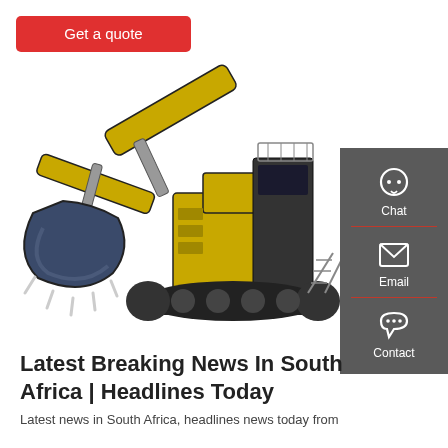Get a quote
[Figure (photo): Large yellow and black mining excavator / hydraulic shovel machine with a large bucket arm, on a white background]
[Figure (infographic): Dark grey sidebar with Chat (headset icon), Email (envelope icon), and Contact (speech bubble icon) options, separated by red divider lines]
Latest Breaking News In South Africa | Headlines Today
Latest news in South Africa, headlines news today from